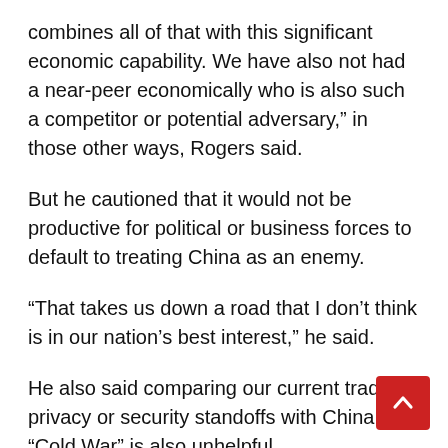combines all of that with this significant economic capability. We have also not had a near-peer economically who is also such a competitor or potential adversary,” in those other ways, Rogers said.
But he cautioned that it would not be productive for political or business forces to default to treating China as an enemy.
“That takes us down a road that I don’t think is in our nation’s best interest,” he said.
He also said comparing our current trade, privacy or security standoffs with China to “Cold War” is also unhelpful.